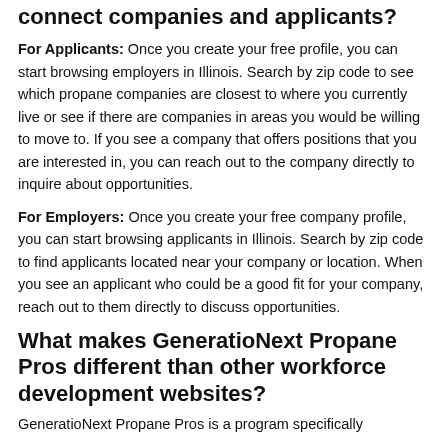connect companies and applicants?
For Applicants: Once you create your free profile, you can start browsing employers in Illinois. Search by zip code to see which propane companies are closest to where you currently live or see if there are companies in areas you would be willing to move to. If you see a company that offers positions that you are interested in, you can reach out to the company directly to inquire about opportunities.
For Employers: Once you create your free company profile, you can start browsing applicants in Illinois. Search by zip code to find applicants located near your company or location. When you see an applicant who could be a good fit for your company, reach out to them directly to discuss opportunities.
What makes GeneratioNext Propane Pros different than other workforce development websites?
GeneratioNext Propane Pros is a program specifically